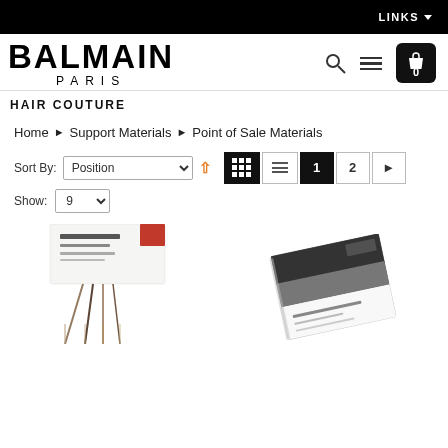LINKS
BALMAIN
PARIS
HAIR COUTURE
Home > Support Materials > Point of Sale Materials
Sort By: Position  Show: 9
[Figure (photo): Product card with hair extension samples hanging below it, showing Balmain branding]
[Figure (photo): Balmain Hair Couture catalogue/brochure shown at an angle]